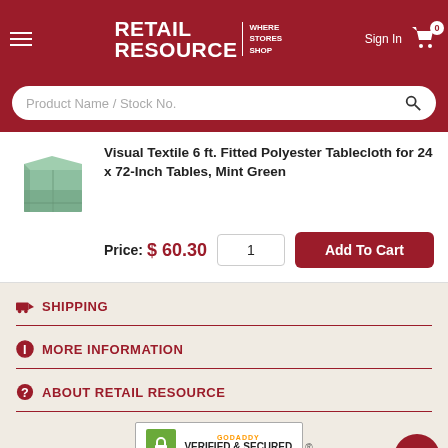Retail Resource – WHERE STORES SHOP
Product Name / Stock No.
Visual Textile 6 ft. Fitted Polyester Tablecloth for 24 x 72-Inch Tables, Mint Green
Price: $ 60.30
SHIPPING
MORE INFORMATION
ABOUT RETAIL RESOURCE
[Figure (logo): GoDaddy Verified & Secured badge]
© 1998 - 2022 Retail Resource, LLC All Rights Reserved